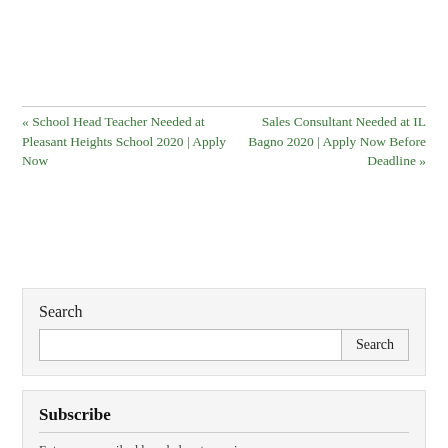« School Head Teacher Needed at Pleasant Heights School 2020 | Apply Now
Sales Consultant Needed at IL Bagno 2020 | Apply Now Before Deadline »
Search
Subscribe
Enter your email address below to receive